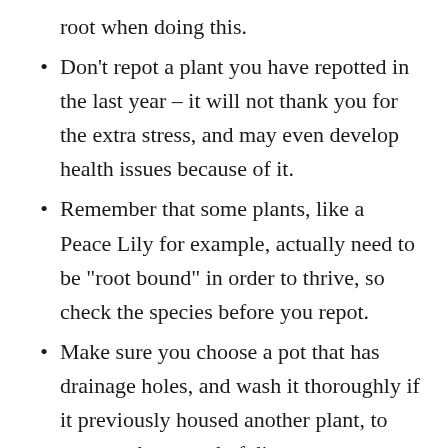root when doing this.
Don’t repot a plant you have repotted in the last year – it will not thank you for the extra stress, and may even develop health issues because of it.
Remember that some plants, like a Peace Lily for example, actually need to be “root bound” in order to thrive, so check the species before you repot.
Make sure you choose a pot that has drainage holes, and wash it thoroughly if it previously housed another plant, to prevent the spread of disease.